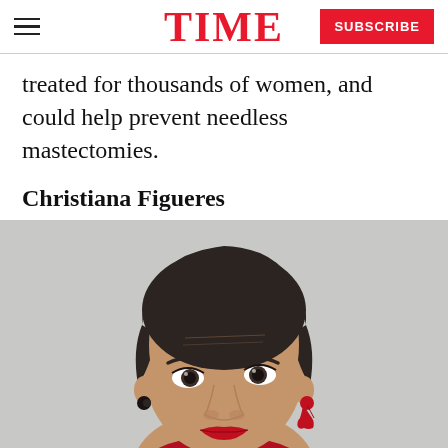TIME  SUBSCRIBE
treated for thousands of women, and could help prevent needless mastectomies.
Christiana Figueres
[Figure (photo): Close-up portrait photo of Christiana Figueres, a woman with short dark hair, looking slightly upward, wearing red earrings, against a light grey background.]